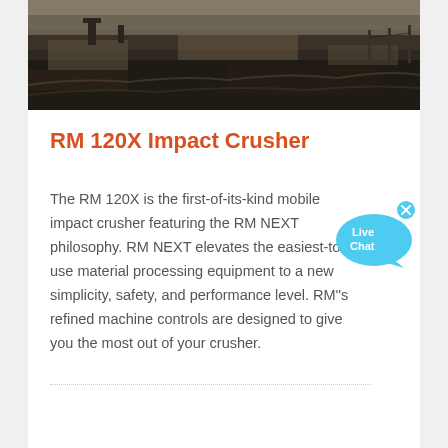[Figure (photo): Aerial view of a quarry or mining site with dark earth, excavation machinery, and rough terrain]
RM 120X Impact Crusher
The RM 120X is the first-of-its-kind mobile impact crusher featuring the RM NEXT philosophy. RM NEXT elevates the easiest-to-use material processing equipment to a new simplicity, safety, and performance level. RM''s refined machine controls are designed to give you the most out of your crusher.
[Figure (illustration): Live Chat speech bubble icon in blue with text 'Live Chat' and a small X close button in the upper right corner]